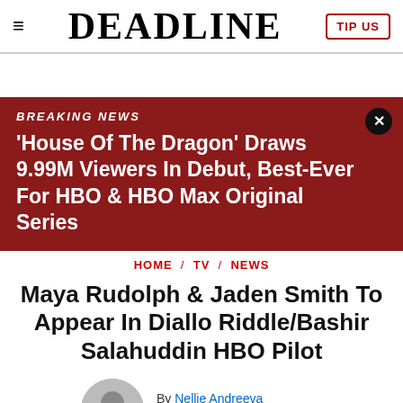DEADLINE
[Figure (other): Breaking news banner with headline: 'House Of The Dragon' Draws 9.99M Viewers In Debut, Best-Ever For HBO & HBO Max Original Series]
HOME / TV / NEWS
Maya Rudolph & Jaden Smith To Appear In Diallo Riddle/Bashir Salahuddin HBO Pilot
By Nellie Andreeva
January 28, 2015 9:30am